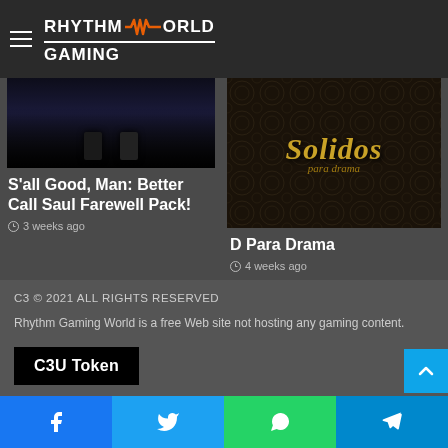RHYTHM GAMING WORLD
[Figure (photo): Dark image showing bottom of figures, part of Better Call Saul Farewell Pack article thumbnail]
S'all Good, Man: Better Call Saul Farewell Pack!
3 weeks ago
[Figure (photo): Solidos para drama album/game cover with ornate dark background and golden gothic text reading 'Solidos para drama']
D Para Drama
4 weeks ago
C3 © 2021 ALL RIGHTS RESERVED
Rhythm Gaming World is a free Web site not hosting any gaming content.
C3U Token
Facebook Twitter WhatsApp Telegram